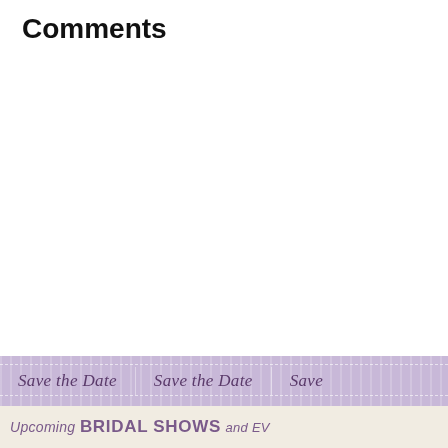Comments
[Figure (illustration): Decorative ribbon banner with repeating 'Save the Date' text in italic purple script on a lavender striped background with dashed white lines, followed by a cream/beige banner with 'Upcoming BRIDAL SHOWS and EV...' text in purple]
Upcoming BRIDAL SHOWS and EV...